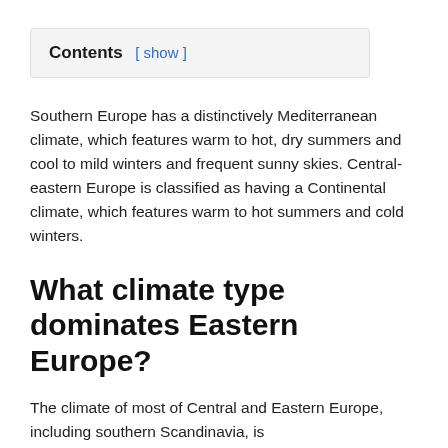Southern Europe has a distinctively Mediterranean climate, which features warm to hot, dry summers and cool to mild winters and frequent sunny skies. Central-eastern Europe is classified as having a Continental climate, which features warm to hot summers and cold winters.
What climate type dominates Eastern Europe?
The climate of most of Central and Eastern Europe, including southern Scandinavia, is